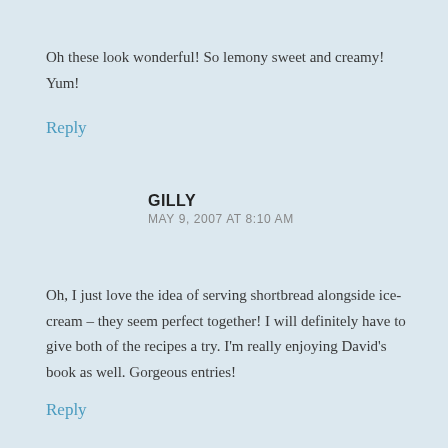Oh these look wonderful! So lemony sweet and creamy! Yum!
Reply
GILLY
MAY 9, 2007 AT 8:10 AM
Oh, I just love the idea of serving shortbread alongside ice-cream – they seem perfect together! I will definitely have to give both of the recipes a try. I'm really enjoying David's book as well. Gorgeous entries!
Reply